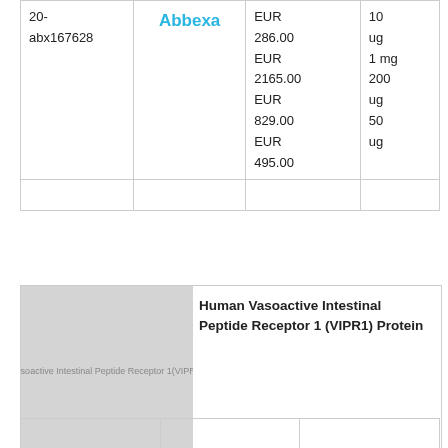| ID | Supplier | Price | Quantity |
| --- | --- | --- | --- |
| 20-abx167628 | Abbexa | EUR
286.00
EUR
2165.00
EUR
829.00
EUR
495.00 | 10 ug
1 mg
200 ug
50 ug |
[Figure (photo): Placeholder image for Human Vasoactive Intestinal Peptide Receptor 1 (VIPR1) Protein product listing with grey background and small text label]
Human Vasoactive Intestinal Peptide Receptor 1 (VIPR1) Protein
|  |  |  |